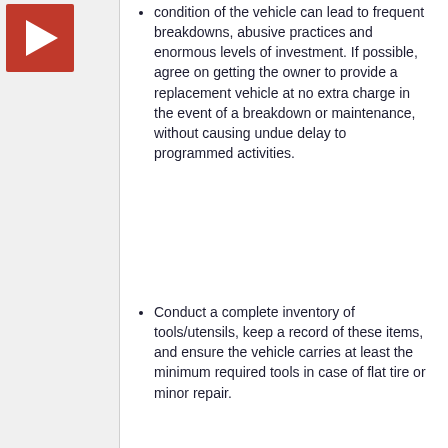[Figure (logo): Confluence red square logo with white arrow/play icon]
condition of the vehicle can lead to frequent breakdowns, abusive practices and enormous levels of investment. If possible, agree on getting the owner to provide a replacement vehicle at no extra charge in the event of a breakdown or maintenance, without causing undue delay to programmed activities.
Conduct a complete inventory of tools/utensils, keep a record of these items, and ensure the vehicle carries at least the minimum required tools in case of flat tire or minor repair.
Powered by a free Atlassian Confluence Community License granted to World Food Programme. Evaluate Confluence today.
Powered by Atlassian Confluence 7.13.7 · Report a bug · Atlassian News
[Figure (logo): Atlassian logo — triangle icon with ATLASSIAN wordmark]